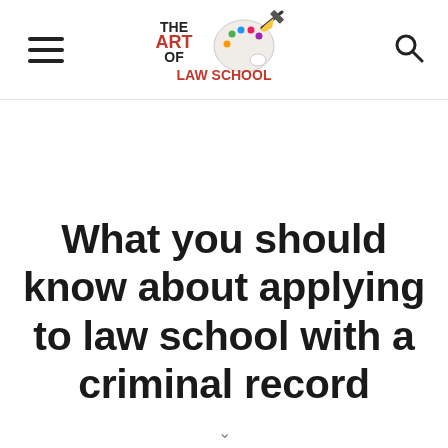[Figure (logo): The Art of Law School logo with paint palette and brush icon, text 'THE ART OF LAW SCHOOL' where ART and LAW SCHOOL are in red]
What you should know about applying to law school with a criminal record